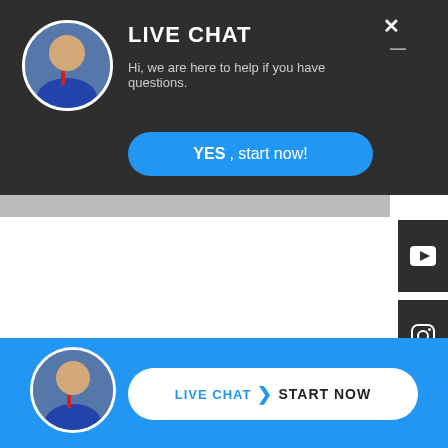[Figure (screenshot): Live chat popup overlay on a website. Dark header with avatar, LIVE CHAT title, subtitle text, blue YES button, close X, YouTube and Instagram icon tabs on the right, white content area, and blue bottom bar with avatar and LIVE CHAT / START NOW button.]
LIVE CHAT
Hi, we are here to help if you have questions.
YES, start now!
LIVE CHAT  START NOW